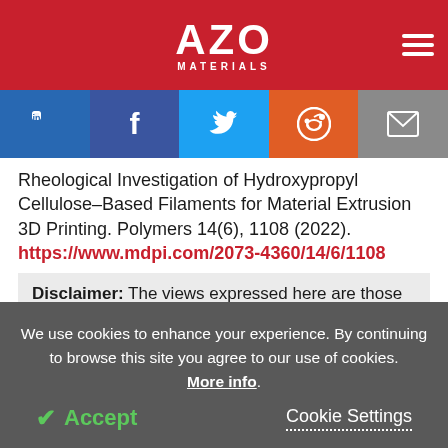AZO MATERIALS
Rheological Investigation of Hydroxypropyl Cellulose-Based Filaments for Material Extrusion 3D Printing. Polymers 14(6), 1108 (2022). https://www.mdpi.com/2073-4360/14/6/1108
Disclaimer: The views expressed here are those of the author expressed in their private capacity and
We use cookies to enhance your experience. By continuing to browse this site you agree to our use of cookies. More info. Accept Cookie Settings